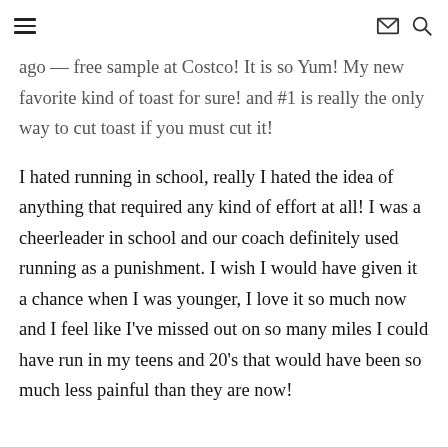[hamburger menu] [envelope icon] [search icon]
ago — free sample at Costco! It is so Yum! My new favorite kind of toast for sure! and #1 is really the only way to cut toast if you must cut it!
I hated running in school, really I hated the idea of anything that required any kind of effort at all! I was a cheerleader in school and our coach definitely used running as a punishment. I wish I would have given it a chance when I was younger, I love it so much now and I feel like I've missed out on so many miles I could have run in my teens and 20's that would have been so much less painful than they are now!